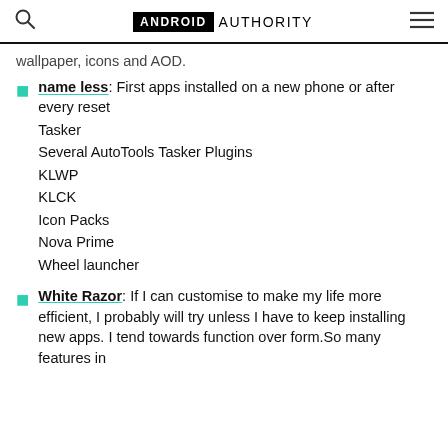ANDROID AUTHORITY
wallpaper, icons and AOD.
name less: First apps installed on a new phone or after every reset
Tasker
Several AutoTools Tasker Plugins
KLWP
KLCK
Icon Packs
Nova Prime
Wheel launcher
White Razor: If I can customise to make my life more efficient, I probably will try unless I have to keep installing new apps. I tend towards function over form.So many features in